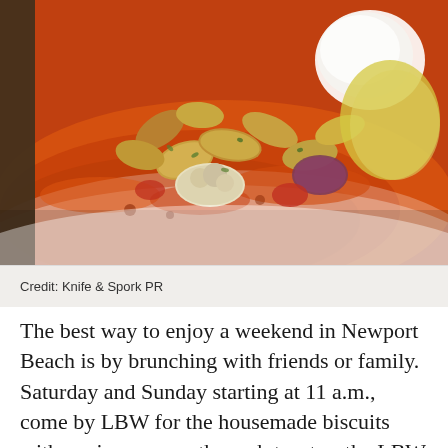[Figure (photo): Close-up food photography of roasted vegetables (fingerling potatoes, onions, tomatoes) on an orange/red romesco or tomato sauce in a white bowl, with a dollop of cream or burrata on top right. Bright, professional restaurant food photography.]
Credit: Knife & Spork PR
The best way to enjoy a weekend in Newport Beach is by brunching with friends or family. Saturday and Sunday starting at 11 a.m., come by LBW for the housemade biscuits with venison gravy, the crab toast or the LBW Brunch Burger. Paired with the prettiest